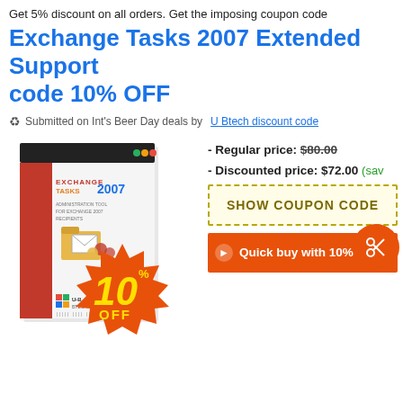Get 5% discount on all orders. Get the imposing coupon code
Exchange Tasks 2007 Extended Support code 10% OFF
Submitted on Int's Beer Day deals by U Btech discount code
[Figure (illustration): Exchange Tasks 2007 software box product image with a 10% OFF starburst badge, showing folder and envelope icons with people, U-Btech logo]
- Regular price: $80.00
- Discounted price: $72.00 (sav
SHOW COUPON CODE
Quick buy with 10% dis